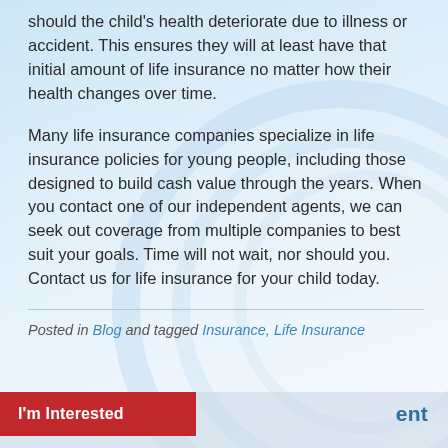should the child's health deteriorate due to illness or accident. This ensures they will at least have that initial amount of life insurance no matter how their health changes over time.
Many life insurance companies specialize in life insurance policies for young people, including those designed to build cash value through the years. When you contact one of our independent agents, we can seek out coverage from multiple companies to best suit your goals. Time will not wait, nor should you. Contact us for life insurance for your child today.
Posted in Blog and tagged Insurance, Life Insurance
ent
I'm Interested